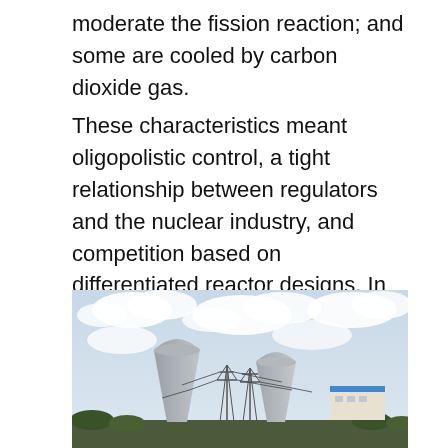moderate the fission reaction; and some are cooled by carbon dioxide gas.
These characteristics meant oligopolistic control, a tight relationship between regulators and the nuclear industry, and competition based on differentiated reactor designs. In France, a single agency designed reactors; a single nationalized utility operated them. This enabled it to create a single basic design, something the United States never achieved.
[Figure (photo): Photograph of nuclear power plant cooling towers with transmission line pylons in the foreground and a blue-roofed building to the right, under a cloudy sky.]